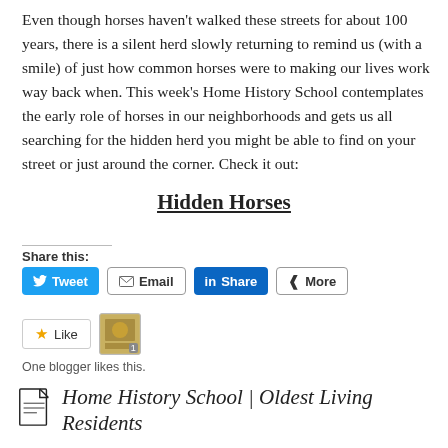Even though horses haven't walked these streets for about 100 years, there is a silent herd slowly returning to remind us (with a smile) of just how common horses were to making our lives work way back when. This week's Home History School contemplates the early role of horses in our neighborhoods and gets us all searching for the hidden herd you might be able to find on your street or just around the corner. Check it out:
Hidden Horses
Share this:
Tweet | Email | Share | More
Like
One blogger likes this.
Home History School | Oldest Living Residents